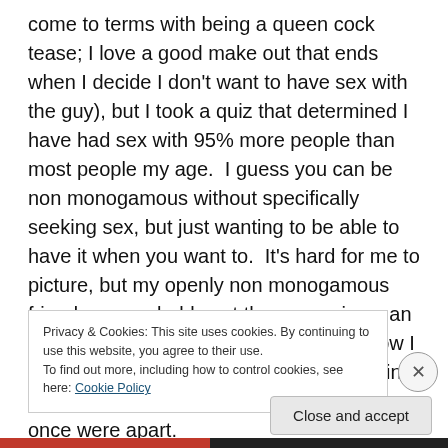come to terms with being a queen cock tease; I love a good make out that ends when I decide I don't want to have sex with the guy), but I took a quiz that determined I have had sex with 95% more people than most people my age.  I guess you can be non monogamous without specifically seeking sex, but just wanting to be able to have it when you want to.  It's hard for me to picture, but my openly non monogamous friends are probably not the womanizers an ex of mine from the past decidedly is. How I put this knowledge aside when we were in love, and how it was cruelly painful to me once were apart.
Privacy & Cookies: This site uses cookies. By continuing to use this website, you agree to their use.
To find out more, including how to control cookies, see here: Cookie Policy